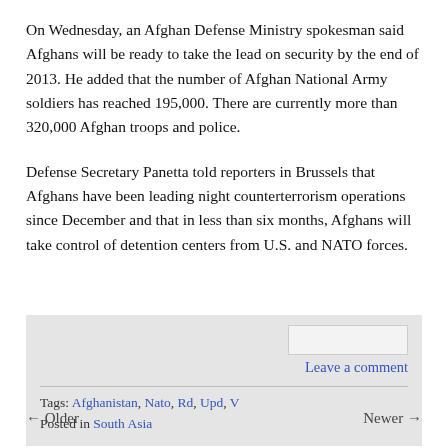On Wednesday, an Afghan Defense Ministry spokesman said Afghans will be ready to take the lead on security by the end of 2013. He added that the number of Afghan National Army soldiers has reached 195,000. There are currently more than 320,000 Afghan troops and police.
Defense Secretary Panetta told reporters in Brussels that Afghans have been leading night counterterrorism operations since December and that in less than six months, Afghans will take control of detention centers from U.S. and NATO forces.
Leave a comment
Tags: Afghanistan, Nato, Rd, Upd, V
Posted in South Asia
← Older    Newer →